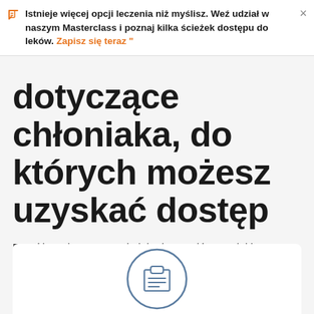Istnieje więcej opcji leczenia niż myślisz. Weź udział w naszym Masterclass i poznaj kilka ścieżek dostępu do leków. Zapisz się teraz "
dotyczące chłoniaka, do których możesz uzyskać dostęp
Pomóż naukowcom szybciej udostępnić nowe leki pacjentom lub skorzystaj z nowej terapii, biorąc udział w badaniach klinicznych. Poniżej przedstawiamy najnowsze badania kliniczne, do których możesz się przyłączyć.
[Figure (illustration): Clipboard icon inside a circle, partial view at bottom of page]